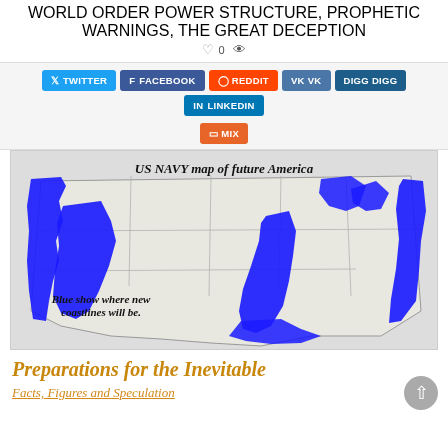WORLD ORDER POWER STRUCTURE, PROPHETIC WARNINGS, THE GREAT DECEPTION
[Figure (map): US NAVY map of future America showing blue areas where new coastlines will be, overlaid on a US map with large blue flooded regions along coasts and interior. Caption text: 'Blue show where new coastlines will be.']
Preparations for the Inevitable
Facts, Figures and Speculation